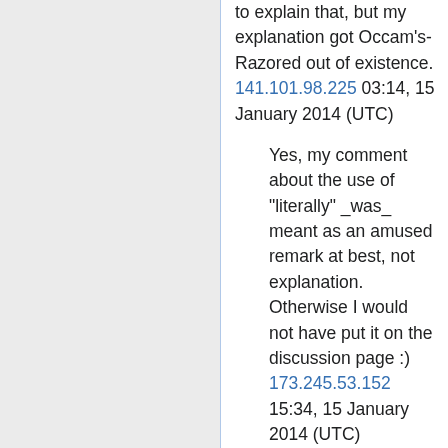to explain that, but my explanation got Occam's-Razored out of existence. 141.101.98.225 03:14, 15 January 2014 (UTC)
Yes, my comment about the use of "literally" _was_ meant as an amused remark at best, not explanation. Otherwise I would not have put it on the discussion page :) 173.245.53.152 15:34, 15 January 2014 (UTC)
Did anyone else think of the Buffy the Vampire Slayer episode "I Robot, You Jane"? It could be a reference (Giles: ... There's a demon in the